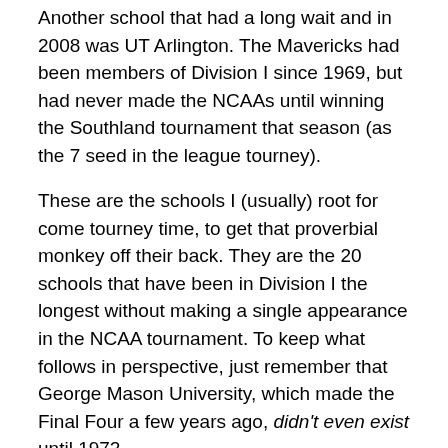Another school that had a long wait and in 2008 was UT Arlington.  The Mavericks had been members of Division I since 1969, but had never made the NCAAs until winning the Southland tournament that season (as the 7 seed in the league tourney).
These are the schools I (usually) root for come tourney time, to get that proverbial monkey off their back.  They are the 20 schools that have been in Division I the longest without making a single appearance in the NCAA tournament.  To keep what follows in perspective, just remember that George Mason University, which made the Final Four a few years ago, didn't even exist until 1972.
—
“The Forgotten Five”
The NCAAs uses a classification into what are commonly called